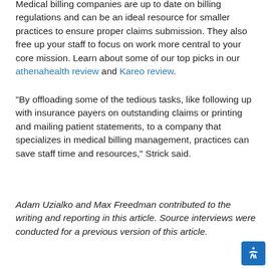Medical billing companies are up to date on billing regulations and can be an ideal resource for smaller practices to ensure proper claims submission. They also free up your staff to focus on work more central to your core mission. Learn about some of our top picks in our athenahealth review and Kareo review.
“By offloading some of the tedious tasks, like following up with insurance payers on outstanding claims or printing and mailing patient statements, to a company that specializes in medical billing management, practices can save staff time and resources,” Strick said.
Adam Uzialko and Max Freedman contributed to the writing and reporting in this article. Source interviews were conducted for a previous version of this article.